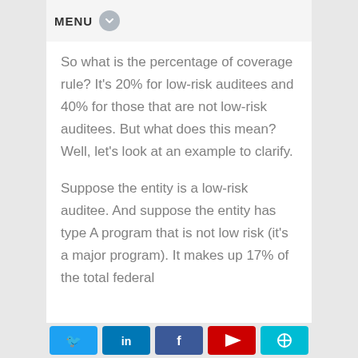MENU
So what is the percentage of coverage rule? It's 20% for low-risk auditees and 40% for those that are not low-risk auditees. But what does this mean? Well, let's look at an example to clarify.
Suppose the entity is a low-risk auditee. And suppose the entity has type A program that is not low risk (it's a major program). It makes up 17% of the total federal